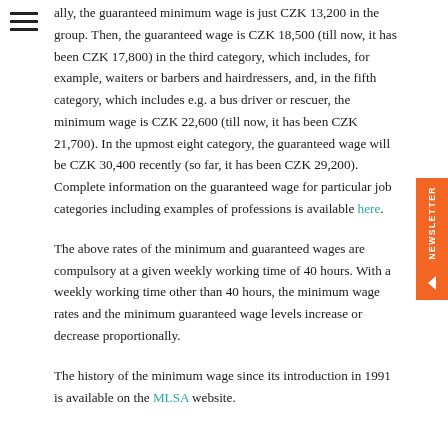[Figure (other): Hamburger menu icon (three horizontal lines) in top-left corner]
ally, the guaranteed minimum wage is just CZK 13,200 in the group. Then, the guaranteed wage is CZK 18,500 (till now, it has been CZK 17,800) in the third category, which includes, for example, waiters or barbers and hairdressers, and, in the fifth category, which includes e.g. a bus driver or rescuer, the minimum wage is CZK 22,600 (till now, it has been CZK 21,700). In the upmost eight category, the guaranteed wage will be CZK 30,400 recently (so far, it has been CZK 29,200). Complete information on the guaranteed wage for particular job categories including examples of professions is available here.

The above rates of the minimum and guaranteed wages are compulsory at a given weekly working time of 40 hours. With a weekly working time other than 40 hours, the minimum wage rates and the minimum guaranteed wage levels increase or decrease proportionally.

The history of the minimum wage since its introduction in 1991 is available on the MLSA website.
[Figure (other): Orange vertical side tab with 'NEWSLETTER' text rotated vertically and a left-pointing arrow/chevron icon below]